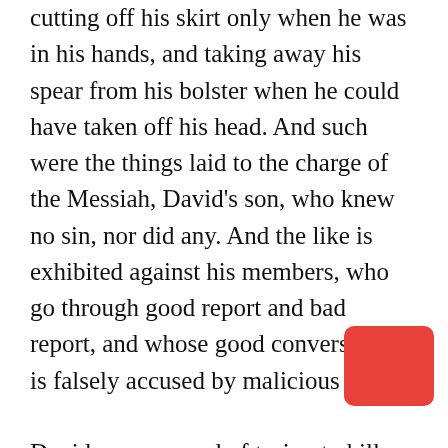cutting off his skirt only when he was in his hands, and taking away his spear from his bolster when he could have taken off his head. And such were the things laid to the charge of the Messiah, David's son, who knew no sin, nor did any. And the like is exhibited against his members, who go through good report and bad report, and whose good conversation is falsely accused by malicious men.

David was accused of trying to kill Saul, when in fact, David could have killed him and didn't. This has been the same all through the ages. The accusers of Jesus were false witnesses as well. The same is true today. If you are trying to live for God, there will be false accusers who try to tear your reputation down. We should rejoice when they accuse us falsely,